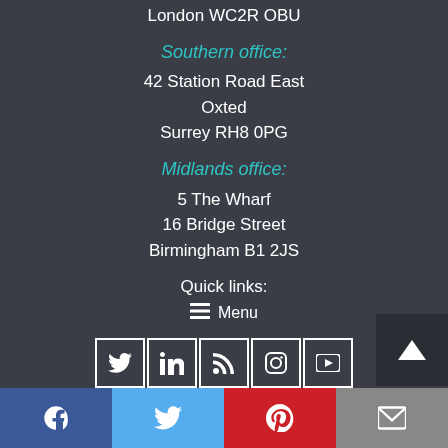London WC2R OBU
Southern office:
42 Station Road East
Oxted
Surrey RH8 0PG
Midlands office:
5 The Wharf
16 Bridge Street
Birmingham B1 2JS
Quick links:
Menu
[Figure (other): Social media icon buttons: Twitter, LinkedIn, RSS, Instagram, YouTube in outlined boxes, plus a scroll-up button and bottom share bar with Facebook, Twitter, Pinterest, Email]
Facebook, Twitter, Pinterest, Email share buttons